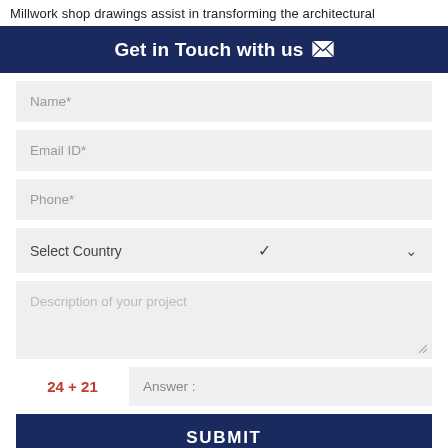Millwork shop drawings assist in transforming the architectural
Get in Touch with us
[Figure (screenshot): Contact form with fields: Name*, Email ID*, Phone*, Select Country dropdown, Description of your project textarea, CAPTCHA (24 + 21), Answer input, and SUBMIT button]